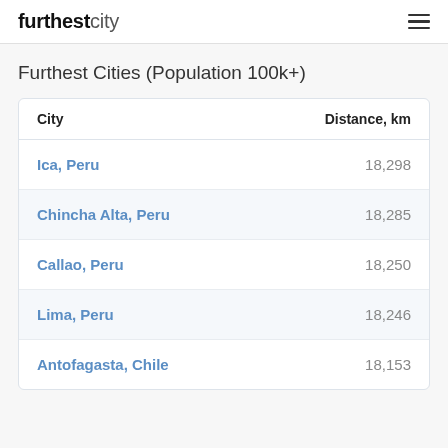furthestcity
Furthest Cities (Population 100k+)
| City | Distance, km |
| --- | --- |
| Ica, Peru | 18,298 |
| Chincha Alta, Peru | 18,285 |
| Callao, Peru | 18,250 |
| Lima, Peru | 18,246 |
| Antofagasta, Chile | 18,153 |